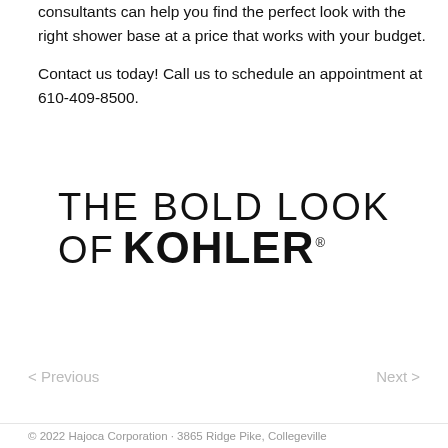consultants can help you find the perfect look with the right shower base at a price that works with your budget.

Contact us today! Call us to schedule an appointment at 610-409-8500.
[Figure (logo): THE BOLD LOOK OF KOHLER logo in black text]
< Previous    Next >
© 2022 Hajoca Corporation · 3865 Ridge Pike, Collegeville